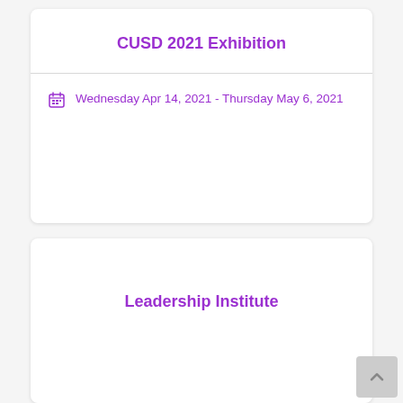CUSD 2021 Exhibition
Wednesday Apr 14, 2021 - Thursday May 6, 2021
Leadership Institute